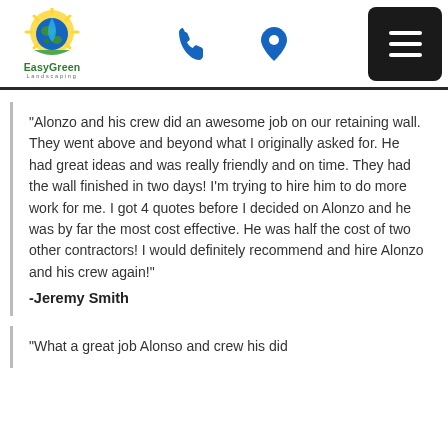[Figure (logo): EasyGreen Landscaping logo with sun rays, water drop, and globe icon]
[Figure (other): Phone icon (call)]
[Figure (other): Location pin icon]
[Figure (other): Hamburger menu button (three horizontal lines on black background)]
"Alonzo and his crew did an awesome job on our retaining wall. They went above and beyond what I originally asked for. He had great ideas and was really friendly and on time. They had the wall finished in two days! I'm trying to hire him to do more work for me. I got 4 quotes before I decided on Alonzo and he was by far the most cost effective. He was half the cost of two other contractors! I would definitely recommend and hire Alonzo and his crew again!"
-Jeremy Smith
"What a great job Alonso and crew his did